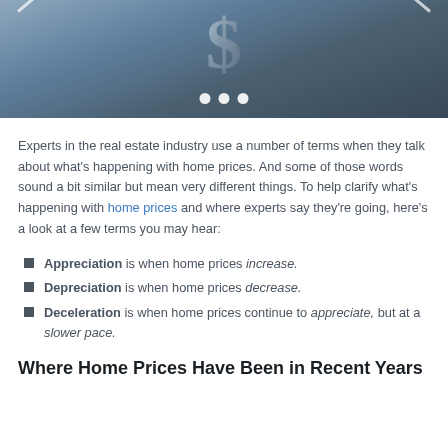[Figure (photo): A 3D metallic dollar sign on a dark blue-grey background with carousel navigation dots below it and diagonal white lines in the corners.]
Experts in the real estate industry use a number of terms when they talk about what's happening with home prices. And some of those words sound a bit similar but mean very different things. To help clarify what's happening with home prices and where experts say they're going, here's a look at a few terms you may hear:
Appreciation is when home prices increase.
Depreciation is when home prices decrease.
Deceleration is when home prices continue to appreciate, but at a slower pace.
Where Home Prices Have Been in Recent Years